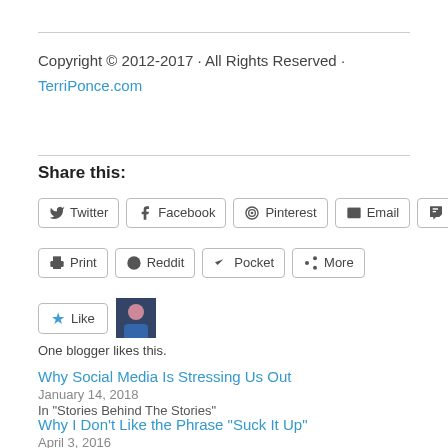Copyright © 2012-2017 · All Rights Reserved · TerriPonce.com
Share this:
Twitter Facebook Pinterest Email Tumblr Print Reddit Pocket More
Like | One blogger likes this.
Why Social Media Is Stressing Us Out
January 14, 2018
In "Stories Behind The Stories"
Why I Don't Like the Phrase "Suck It Up"
April 3, 2016